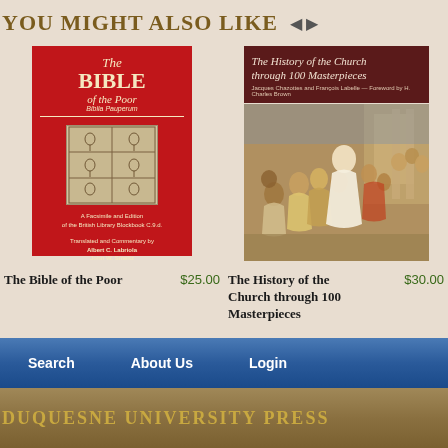YOU MIGHT ALSO LIKE
[Figure (photo): Book cover: The Bible of the Poor, red cover with medieval woodcut illustration]
The Bible of the Poor
$25.00
[Figure (photo): Book cover: The History of the Church through 100 Masterpieces, dark red header with classical painting of religious scene]
The History of the Church through 100 Masterpieces
$30.00
Search   About Us   Login
DUQUESNE UNIVERSITY PRESS